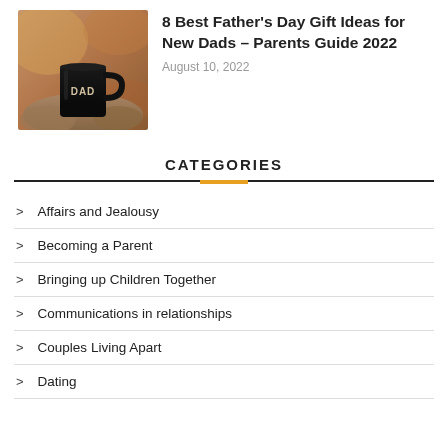[Figure (photo): Photo of a black mug with 'DAD' text on it, sitting outdoors on rocks with warm background]
8 Best Father's Day Gift Ideas for New Dads – Parents Guide 2022
August 10, 2022
CATEGORIES
Affairs and Jealousy
Becoming a Parent
Bringing up Children Together
Communications in relationships
Couples Living Apart
Dating